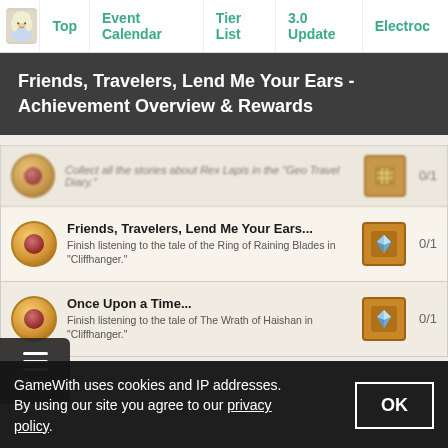Top | Event Calendar | Tier List | 3.0 Update | Electroc
Friends, Travelers, Lend Me Your Ears - Achievement Overview & Rewards
[Figure (screenshot): Achievement list showing three rows: a blurred top row about Rex Lapis Geo Travel Diary, 'Friends, Travelers, Lend Me Your Ears...' achievement (Finish listening to the tale of the Ring of Raining Blades in Cliffhanger, 0/1), and 'Once Upon a Time...' achievement (Finish listening to the tale of The Wrath of Haishan in Cliffhanger, 0/1). Each row has a gold medal icon on the left, a blue diamond reward icon, and a counter on the right.]
GameWith uses cookies and IP addresses. By using our site you agree to our privacy policy.